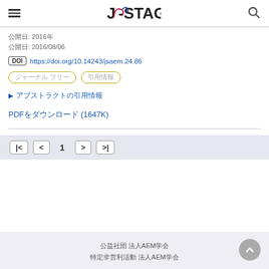J-STAGE
公開日: 2016年
公開日: 2016/08/06
DOI https://doi.org/10.14243/jsaem.24.86
ジャーナル フリー
▶ アブストラクトの引用情報
PDFをダウンロード (1647K)
| <  <  1  >  >|
公益社団 法人AEM学会
特定非営利活動 法人AEM学会